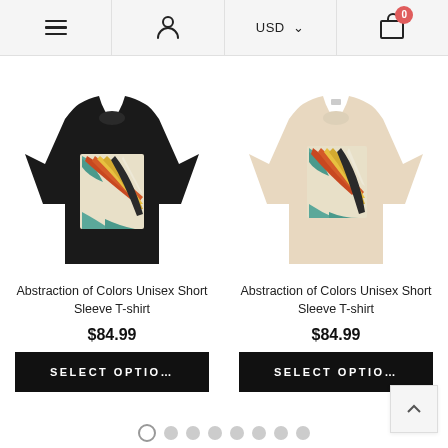Menu | User | USD | Cart (0)
[Figure (photo): Black t-shirt with abstract colorful graphic print on the back]
Abstraction of Colors Unisex Short Sleeve T-shirt
$84.99
SELECT OPTIO...
[Figure (photo): Beige/cream t-shirt with abstract colorful graphic print on the front]
Abstraction of Colors Unisex Short Sleeve T-shirt
$84.99
SELECT OPTIO...